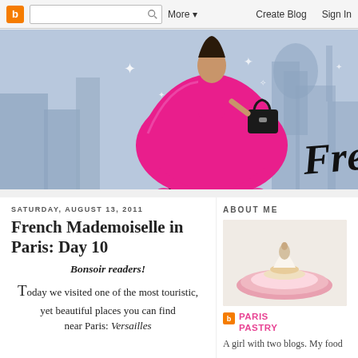Blogger navbar with search, More, Create Blog, Sign In
[Figure (illustration): Blog banner showing a stylishly dressed woman in a bright pink flared skirt and black high heels carrying a black handbag, walking against a blue cityscape silhouette background with the word 'Frenc' (part of French Pastry) in decorative script]
SATURDAY, AUGUST 13, 2011
French Mademoiselle in Paris: Day 10
Bonsoir readers!
Today we visited one of the most touristic, yet beautiful places you can find near Paris: Versailles
ABOUT ME
[Figure (photo): Photo of a delicate pastry or dessert on a pink plate]
PARIS PASTRY
A girl with two blogs. My food